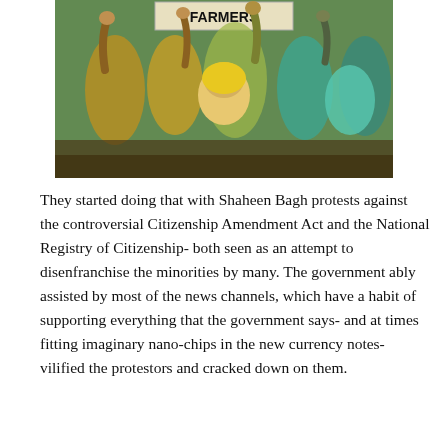[Figure (photo): A crowd of women protesters, some wearing yellow and green headscarves, with raised fists and hands. A sign in the background reads 'FARMERS'. The scene appears to be an outdoor protest gathering.]
They started doing that with Shaheen Bagh protests against the controversial Citizenship Amendment Act and the National Registry of Citizenship- both seen as an attempt to disenfranchise the minorities by many. The government ably assisted by most of the news channels, which have a habit of supporting everything that the government says- and at times fitting imaginary nano-chips in the new currency notes- vilified the protestors and cracked down on them.